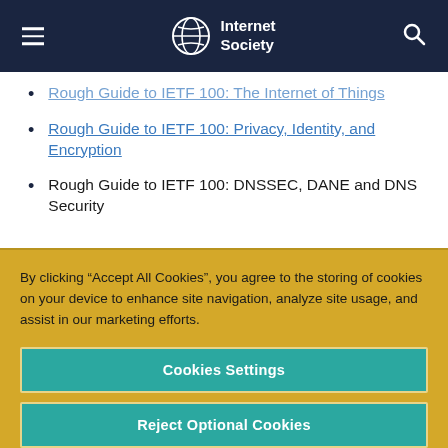Internet Society
Rough Guide to IETF 100: The Internet of Things
Rough Guide to IETF 100: Privacy, Identity, and Encryption
Rough Guide to IETF 100: DNSSEC, DANE and DNS Security
By clicking “Accept All Cookies”, you agree to the storing of cookies on your device to enhance site navigation, analyze site usage, and assist in our marketing efforts.
Cookies Settings
Reject Optional Cookies
Accept All Cookies